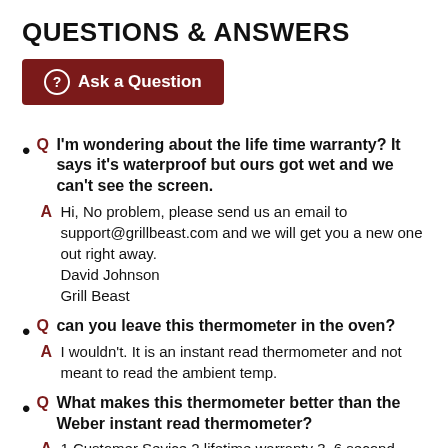QUESTIONS & ANSWERS
Ask a Question
Q I'm wondering about the life time warranty? It says it's waterproof but ours got wet and we can't see the screen.
A Hi, No problem, please send us an email to support@grillbeast.com and we will get you a new one out right away.
David Johnson
Grill Beast
Q can you leave this thermometer in the oven?
A I wouldn't. It is an instant read thermometer and not meant to read the ambient temp.
Q What makes this thermometer better than the Weber instant read thermometer?
A 1.Customer Sevice 2.lifetime warranty 3. 6 second read time 4. Superior construction 5. Better Design 6. No...